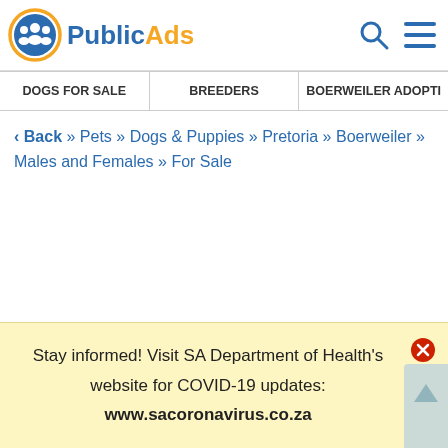PublicAds
DOGS FOR SALE | BREEDERS | BOERWEILER ADOPTI
‹ Back » Pets » Dogs & Puppies » Pretoria » Boerweiler » Males and Females » For Sale
Stay informed! Visit SA Department of Health's website for COVID-19 updates: www.sacoronavirus.co.za